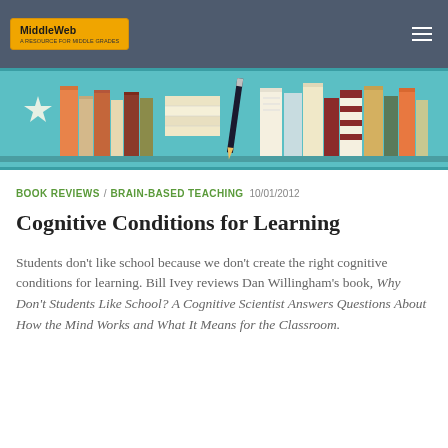MiddleWeb
[Figure (illustration): Colorful bookshelf illustration with stacked books in various colors (teal, orange, tan, red, dark) against a teal background, with a star icon on the left side.]
BOOK REVIEWS / BRAIN-BASED TEACHING  10/01/2012
Cognitive Conditions for Learning
Students don't like school because we don't create the right cognitive conditions for learning. Bill Ivey reviews Dan Willingham's book, Why Don't Students Like School? A Cognitive Scientist Answers Questions About How the Mind Works and What It Means for the Classroom.